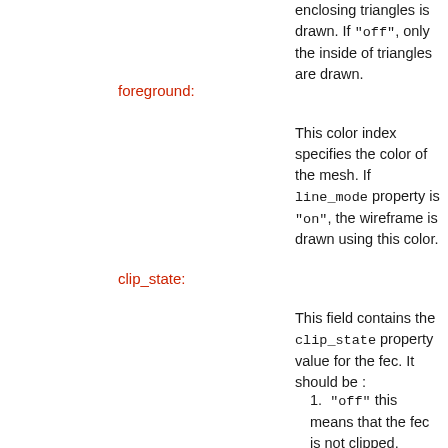enclosing triangles is drawn. If "off", only the inside of triangles are drawn.
foreground:
This color index specifies the color of the mesh. If line_mode property is "on", the wireframe is drawn using this color.
clip_state:
This field contains the clip_state property value for the fec. It should be :
"off" this means that the fec is not clipped.